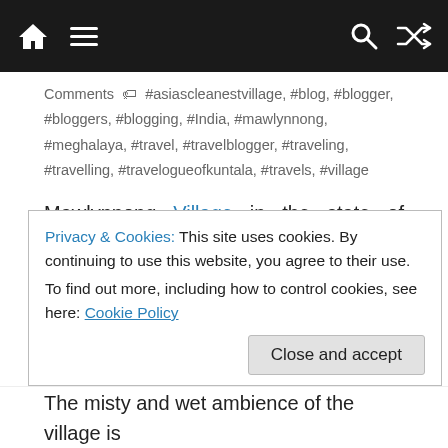Navigation bar with home, menu, search, and shuffle icons
Comments  #asiascleanestvillage, #blog, #blogger, #bloggers, #blogging, #India, #mawlynnong, #meghalaya, #travel, #travelblogger, #traveling, #travelling, #travelogueofkuntala, #travels, #village
Mawlynnong Village in the state of Meghalaya in India is called, 'God's own garden'. Mawlynnong is Asia's cleanest village. It took us approximately 3 hours from Shillong, the capital of Meghalaya, to finally reach Mawlynnong Village. In the lap of nature stands the little inaccessible village, amidst the green rolling Khasi
Privacy & Cookies: This site uses cookies. By continuing to use this website, you agree to their use.
To find out more, including how to control cookies, see here: Cookie Policy
The misty and wet ambience of the village is